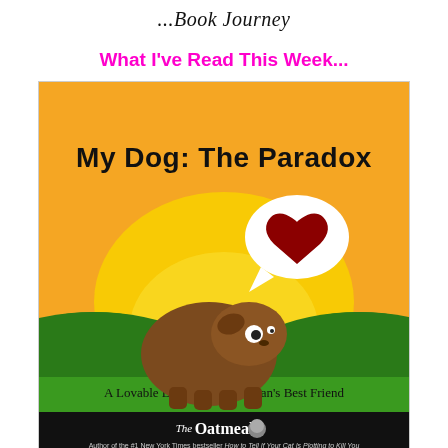...Book Journey
What I've Read This Week...
[Figure (illustration): Book cover of 'My Dog: The Paradox' by The Oatmeal. Orange and yellow sunset sky background with green rolling hills. A round brown cartoon dog sits on green grass looking sideways with white eyes. A white speech bubble above contains a dark red heart. Title text reads 'My Dog: The Paradox' in large black handwritten-style font. Subtitle reads 'A Lovable Discourse about Man's Best Friend'. Black bottom bar with The Oatmeal logo and text: Author of the #1 New York Times bestseller How to Tell If Your Cat Is Plotting to Kill You.]